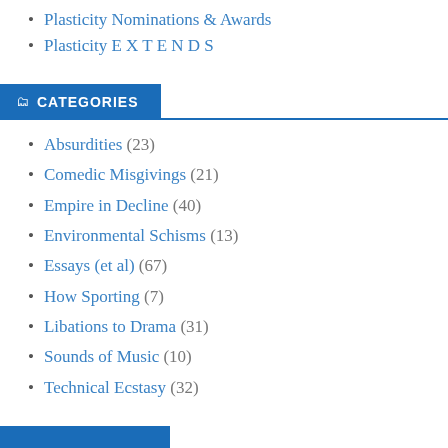Plasticity Nominations & Awards
Plasticity E X T E N D S
CATEGORIES
Absurdities (23)
Comedic Misgivings (21)
Empire in Decline (40)
Environmental Schisms (13)
Essays (et al) (67)
How Sporting (7)
Libations to Drama (31)
Sounds of Music (10)
Technical Ecstasy (32)